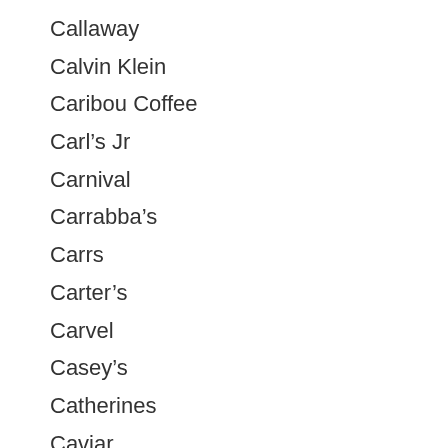Callaway
Calvin Klein
Caribou Coffee
Carl's Jr
Carnival
Carrabba's
Carrs
Carter's
Carvel
Casey's
Catherines
Caviar
CB2
CBS All Access (Now Paramount+ Gift Cards)
Celebrity Cruises
Champs Sports
Chart House